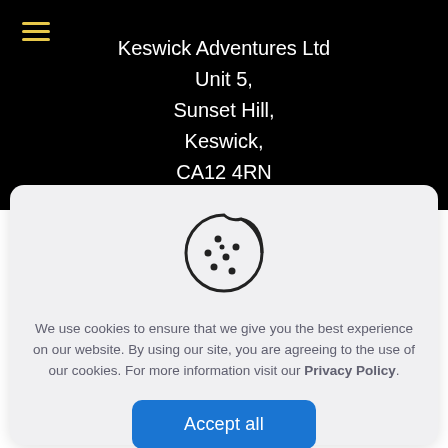Keswick Adventures Ltd
Unit 5,
Sunset Hill,
Keswick,
CA12 4RN
[Figure (illustration): Cookie icon — a circle with a bite taken out of the upper right, with several small dots scattered across it representing chocolate chips.]
We use cookies to ensure that we give you the best experience on our website. By using our site, you are agreeing to the use of our cookies. For more information visit our Privacy Policy.